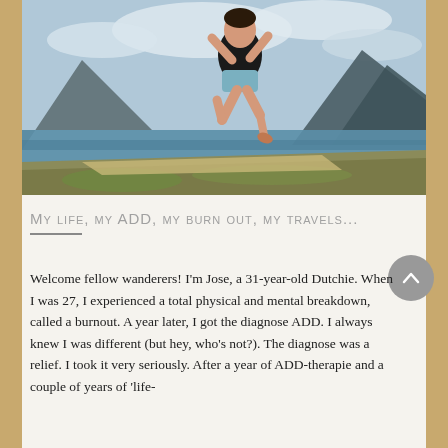[Figure (photo): Person jumping in the air on a grassy shoreline with a lake and mountains in the background under a cloudy sky.]
My life, my ADD, my burn out, my travels...
Welcome fellow wanderers! I'm Jose, a 31-year-old Dutchie. When I was 27, I experienced a total physical and mental breakdown, called a burnout. A year later, I got the diagnose ADD. I always knew I was different (but hey, who's not?). The diagnose was a relief. I took it very seriously. After a year of ADD-therapie and a couple of years of 'life-